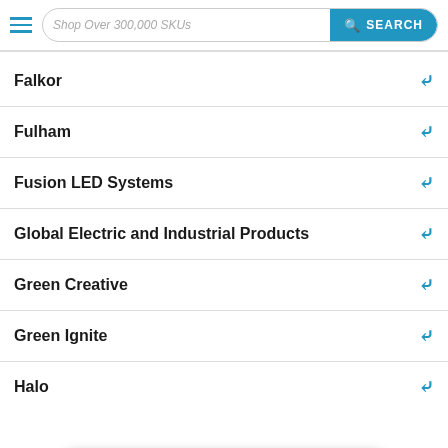Shop Over 300,000 SKUs | SEARCH
Falkor
Fulham
Fusion LED Systems
Global Electric and Industrial Products
Green Creative
Green Ignite
Halo
Hammond Power Solutions
Need Help? Call us Now! 888-325-4448